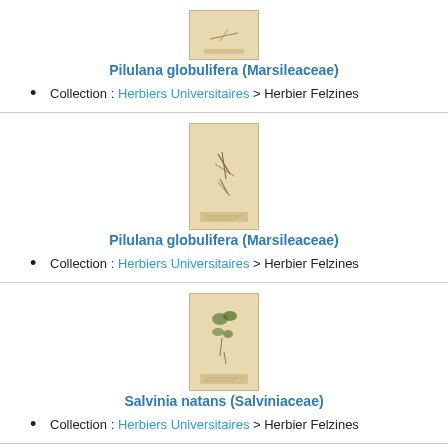[Figure (photo): Herbarium specimen image of Pilulana globulifera]
Pilulana globulifera (Marsileaceae)
Collection : Herbiers Universitaires > Herbier Felzines
[Figure (photo): Herbarium specimen image of Pilulana globulifera]
Pilulana globulifera (Marsileaceae)
Collection : Herbiers Universitaires > Herbier Felzines
[Figure (photo): Herbarium specimen image of Salvinia natans]
Salvinia natans (Salviniaceae)
Collection : Herbiers Universitaires > Herbier Felzines
[Figure (photo): Herbarium specimen image of Selaginella denticulata]
Selaginella denticulata (Selaginellaceae)
Collection : Herbiers Universitaires > Herbier Felzines